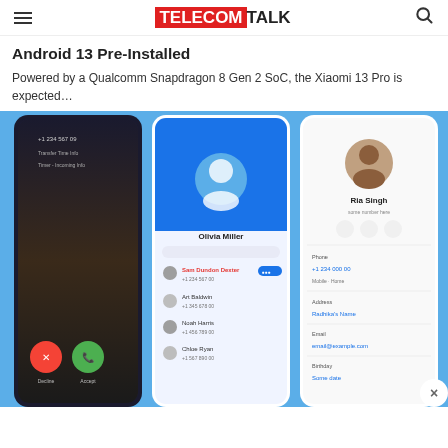TELECOMTALK
Android 13 Pre-Installed
Powered by a Qualcomm Snapdragon 8 Gen 2 SoC, the Xiaomi 13 Pro is expected…
[Figure (photo): Three smartphone screens showing phone call interfaces and contacts on a blue background, with a close (×) button in the bottom-right corner.]